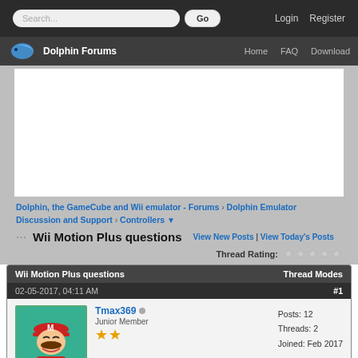Search... Go  Login  Register
Dolphin Forums  Home  FAQ  Download
Dolphin, the GameCube and Wii emulator - Forums › Dolphin Emulator Discussion and Support › Controllers ▼
Wii Motion Plus questions
View New Posts | View Today's Posts
Thread Rating:
Wii Motion Plus questions   Thread Modes
02-05-2017, 04:11 AM   #1
Tmax369
Junior Member
Posts: 12
Threads: 2
Joined: Feb 2017